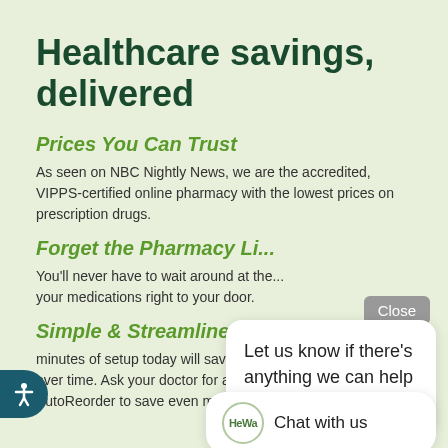Healthcare savings, delivered
Prices You Can Trust
As seen on NBC Nightly News, we are the accredited, VIPPS-certified online pharmacy with the lowest prices on prescription drugs.
Forget the Pharmacy Li...
You'll never have to wait around at the... your medications right to your door.
Simple & Streamlined
minutes of setup today will save y... over time. Ask your doctor for a 90... AutoReorder to save even more.
[Figure (screenshot): Chat widget overlay with Close button, chat bubble saying 'Let us know if there's anything we can help you with!', and a chat bar with HeWa logo and 'Chat with us' text. Also accessibility button bottom left.]